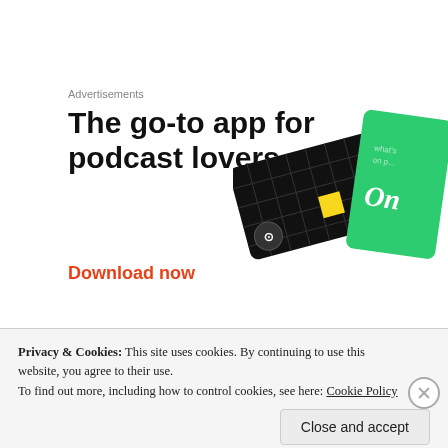Advertisements
The go-to app for podcast lovers.
Download now
[Figure (illustration): Podcast app advertisement showing two cards/devices: a black card with grid pattern and yellow square, and a green card with script text 'On']
[Figure (photo): Circular author avatar photo, partially visible]
ST
Privacy & Cookies: This site uses cookies. By continuing to use this website, you agree to their use.
To find out more, including how to control cookies, see here: Cookie Policy
Close and accept